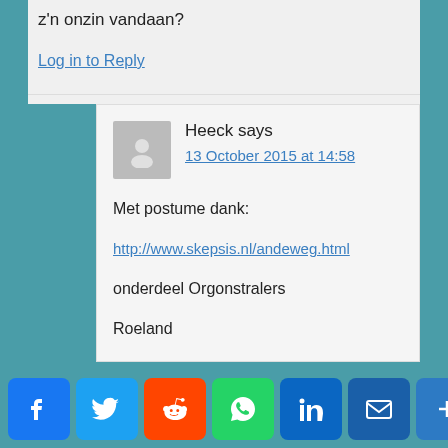z'n onzin vandaan?
Log in to Reply
Heeck says
13 October 2015 at 14:58
Met postume dank:

http://www.skepsis.nl/andeweg.html

onderdeel Orgonstralers

Roeland